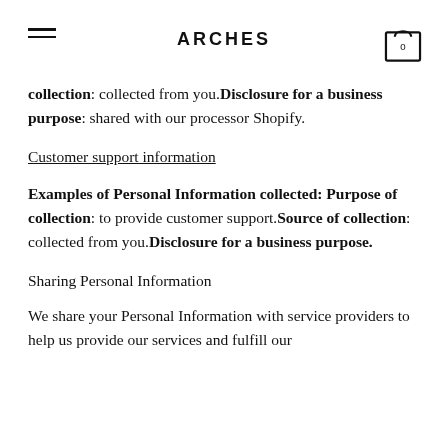ARCHES
collection: collected from you.Disclosure for a business purpose: shared with our processor Shopify.
Customer support information
Examples of Personal Information collected: Purpose of collection: to provide customer support.Source of collection: collected from you.Disclosure for a business purpose.
Sharing Personal Information
We share your Personal Information with service providers to help us provide our services and fulfill our